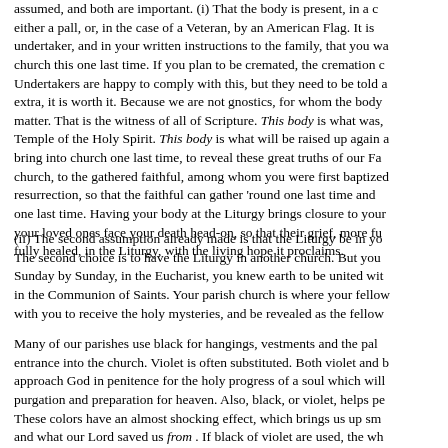assumed, and both are important. (i) That the body is present, in a c either a pall, or, in the case of a Veteran, by an American Flag. It is undertaker, and in your written instructions to the family, that you wa church this one last time. If you plan to be cremated, the cremation Undertakers are happy to comply with this, but they need to be told extra, it is worth it. Because we are not gnostics, for whom the body matter. That is the witness of all of Scripture. This body is what was, Temple of the Holy Spirit. This body is what will be raised up again a bring into church one last time, to reveal these great truths of our Fa church, to the gathered faithful, among whom you were first baptized resurrection, so that the faithful can gather 'round one last time and one last time. Having your body at the Liturgy brings closure to your your loved ones face your death head-on, so that their grief, more fu fully healed, in the Liturgy, with the living hope it proclaims.
(ii) The second assumption already made is that the Liturgy be in yo The second choice is to have the Liturgy in another church. But you Sunday by Sunday, in the Eucharist, you knew earth to be united wi in the Communion of Saints. Your parish church is where your fellow with you to receive the holy mysteries, and be revealed as the fellow
Many of our parishes use black for hangings, vestments and the pa entrance into the church. Violet is often substituted. Both violet and approach God in penitence for the holy progress of a soul which will purgation and preparation for heaven. Also, black, or violet, helps pe These colors have an almost shocking effect, which brings us up sm and what our Lord saved us from . If black of violet are used, the wh penitential, and so no hymns with the word "alleluia" are used.
Using white vestments and hangings is the post-Vatican II emphasis what He saved us for . The theme is more from the book of Revelati white in the Blood of the Lamb. With white, hymns with the word "al